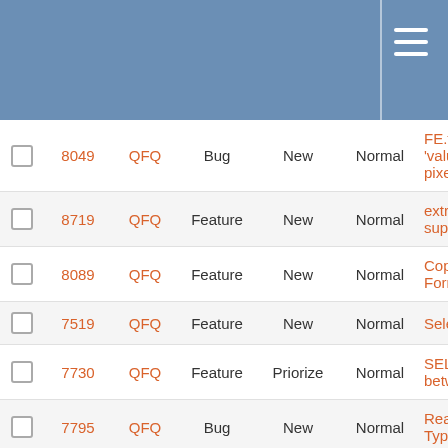|  | ID | Project | Type | Status | Priority | Title |
| --- | --- | --- | --- | --- | --- | --- |
|  | 8049 | QFQ | Bug | New | Normal | FE.type: 'value': t pixel to t |
|  | 8719 | QFQ | Feature | New | Normal | extraBut support |
|  | 8089 | QFQ | Feature | New | Normal | Copy/Pa FormEle |
|  | 7519 | QFQ | Feature | New | Normal | Select: N |
|  | 7730 | QFQ | Feature | Priorize | Normal | SELECT betweer |
|  | 7795 | QFQ | Bug | New | Normal | Readon Typeahe |
|  | 7513 | QFQ | Bug | New | Normal | Radios n aligned |
|  | 7520 | QFQ | Feature | New | Normal | QR Cod AS _link |
|  | 7524 | QFQ | Bug | New | Normal | QFQ thr Error' if 'fileadmi is not w |